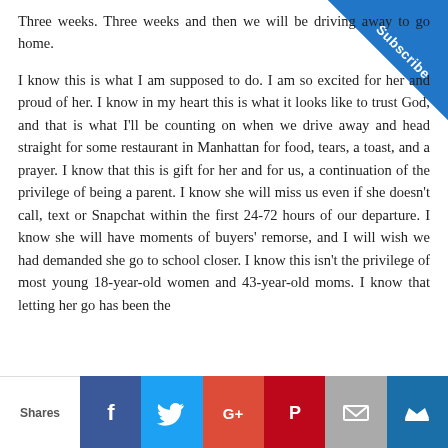Three weeks. Three weeks and then we will be driving away to go home.

I know this is what I am supposed to do. I am so excited for her and proud of her. I know in my heart this is what it looks like to trust God, and that is what I'll be counting on when we drive away and head straight for some restaurant in Manhattan for food, tears, a toast, and a prayer. I know that this is gift for her and for us, a continuation of the privilege of being a parent. I know she will miss us even if she doesn't call, text or Snapchat within the first 24-72 hours of our departure. I know she will have moments of buyers' remorse, and I will wish we had demanded she go to school closer. I know this isn't the privilege of most young 18-year-old women and 43-year-old moms. I know that letting her go has been the
[Figure (other): Blue diagonal 'Subscribe' badge in top-right corner]
Shares | Facebook | Twitter | Google+ | Pinterest | Email | Crown